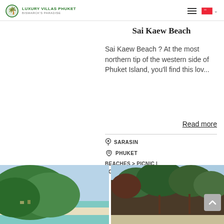Luxury Villas Phuket - Bismarck's Paradise
Sai Kaew Beach
Sai Kaew Beach ? At the most northern tip of the western side of Phuket Island, you'll find this lov...
Read more
SARASIN
PHUKET
BEACHES > PICNIC | SCENIC | SWIMMING
[Figure (photo): Beach scene with green forested hillside, sandy shore and turquoise water]
[Figure (photo): Forested coastal area with trees near the beach]